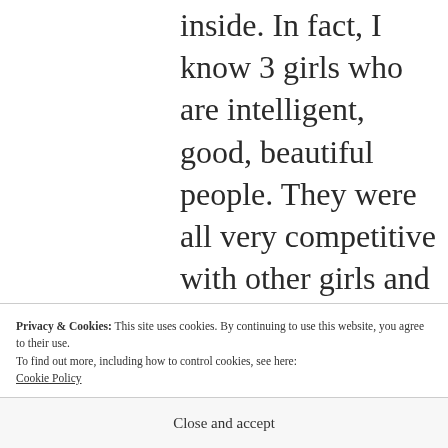inside. In fact, I know 3 girls who are intelligent, good, beautiful people. They were all very competitive with other girls and would consistently flirt with other guys that they knew their roommates liked or were dating. They seemed to have this constant need for
Privacy & Cookies: This site uses cookies. By continuing to use this website, you agree to their use.
To find out more, including how to control cookies, see here:
Cookie Policy
Close and accept
at least 2 of them struggle